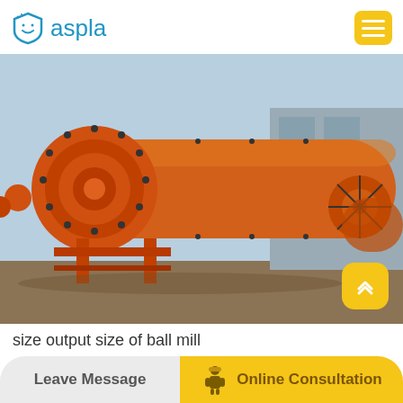aspla
[Figure (photo): Large industrial orange ball mill machine on metal supports outdoors near a building. The cylindrical horizontal grinding mill has a large bolted end cap on the left and extends far to the right. A yellow scroll-to-top button overlay appears in the lower right of the image.]
size output size of ball mill
Leave Message | Online Consultation